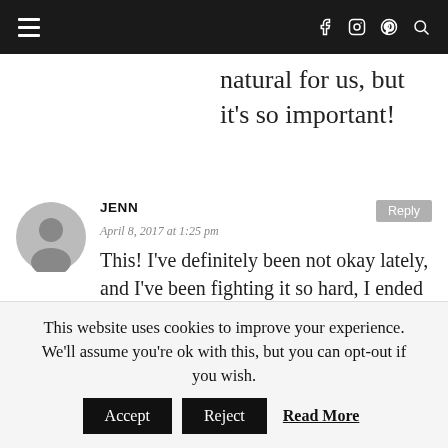Navigation bar with hamburger menu, Facebook, Instagram, Pinterest, and Search icons
natural for us, but it’s so important!
JENN
April 8, 2017 at 1:25 pm
This! I’ve definitely been not okay lately, and I’ve been fighting it so hard, I ended up sick all of last week and most of this
This website uses cookies to improve your experience. We'll assume you're ok with this, but you can opt-out if you wish.